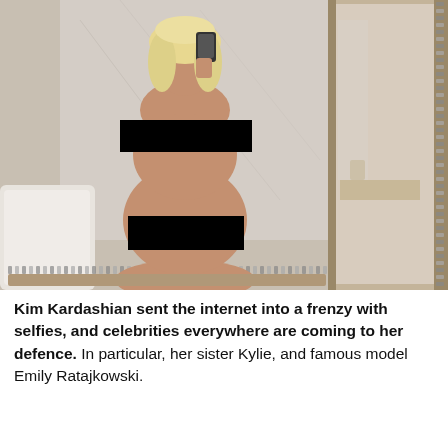[Figure (photo): A censored mirror selfie photo showing a person with long blonde hair holding a phone taking a selfie in a large ornate bathroom mirror. Two black censorship bars cover the chest and lower body areas. The right side shows an ornate mirror frame with decorative dot border. A freestanding bathtub is visible on the left side.]
Kim Kardashian sent the internet into a frenzy with selfies, and celebrities everywhere are coming to her defence. In particular, her sister Kylie, and famous model Emily Ratajkowski.